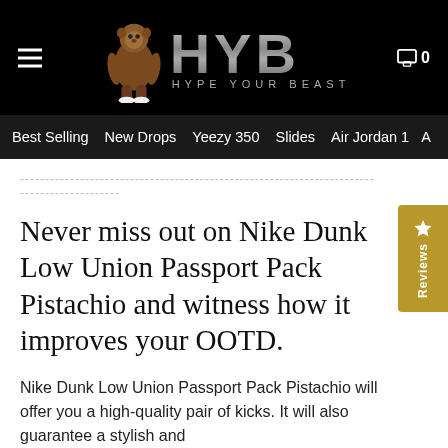HYB HYPE YOUR BEAST
Best Selling  New Drops  Yeezy 350  Slides  Air Jordan 1  A
----------------------------------------------------------------------
--------------------
Never miss out on Nike Dunk Low Union Passport Pack Pistachio and witness how it improves your OOTD.
Nike Dunk Low Union Passport Pack Pistachio will offer you a high-quality pair of kicks. It will also guarantee a stylish and